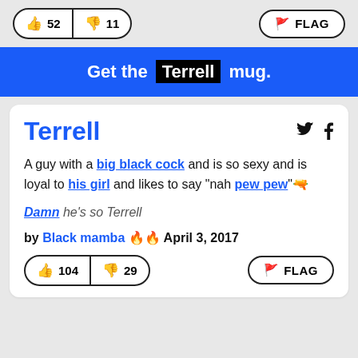[Figure (screenshot): Vote buttons showing thumbs up 52 and thumbs down 11, and a FLAG button on the right]
Get the Terrell mug.
Terrell
A guy with a big black cock and is so sexy and is loyal to his girl and likes to say "nah pew pew"🔫
Damn he's so Terrell
by Black mamba 🔥🔥 April 3, 2017
[Figure (screenshot): Vote buttons showing thumbs up 104 and thumbs down 29, and a FLAG button on the right]